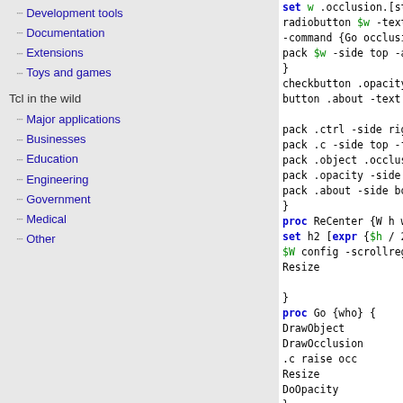Development tools
Documentation
Extensions
Toys and games
Tcl in the wild
Major applications
Businesses
Education
Engineering
Government
Medical
Other
[Figure (screenshot): Tcl/Tk source code showing radiobutton, checkbutton, pack commands and proc definitions for ReCenter, Go, and DrawObject procedures with syntax highlighting]